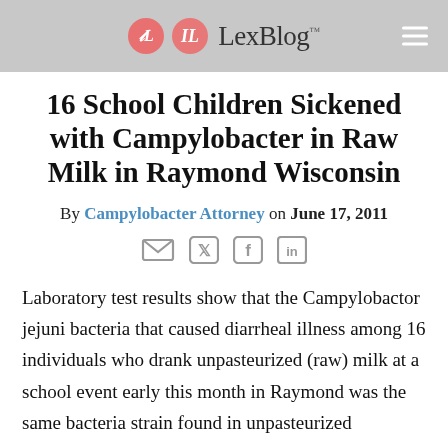LexBlog™
16 School Children Sickened with Campylobacter in Raw Milk in Raymond Wisconsin
By Campylobacter Attorney on June 17, 2011
[Figure (other): Social sharing icons: email, Twitter, Facebook, LinkedIn]
Laboratory test results show that the Campylobactor jejuni bacteria that caused diarrheal illness among 16 individuals who drank unpasteurized (raw) milk at a school event early this month in Raymond was the same bacteria strain found in unpasteurized